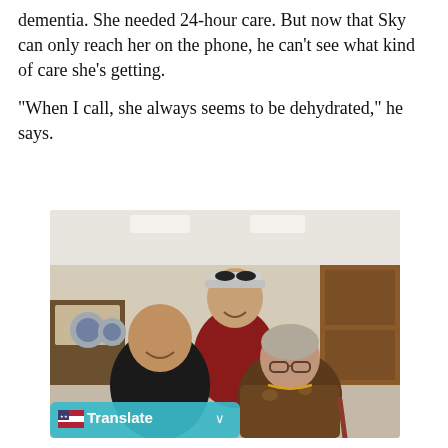dementia. She needed 24-hour care. But now that Sky can only reach her on the phone, he can't see what kind of care she's getting.
“When I call, she always seems to be dehydrated,” he says.
[Figure (photo): Three people posing together in what appears to be a care facility dining area. A man in a black shirt is in the front left, a man in a maroon long-sleeve shirt and baseball cap stands behind, and an elderly woman wearing glasses and a patterned top sits in front right holding a cane. A 'Translate' button overlay appears at the bottom left of the photo.]